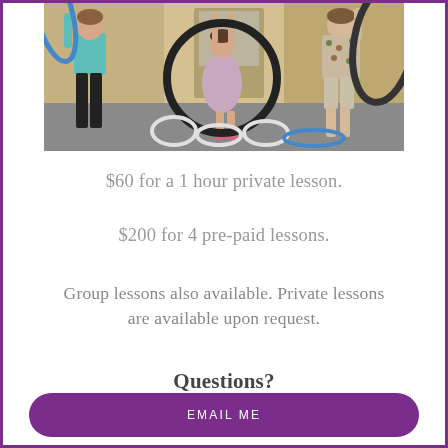[Figure (photo): Three people (two adults and a child) holding hula hoops in an indoor studio or gym setting. The adult on the left wears a teal top and black pants, the child in the middle wears a patterned dress, and the adult on the right wears a patterned blouse and light shorts. Several hula hoops are visible on the floor.]
$60 for a 1 hour private lesson.
$200 for 4 pre-paid lessons.
Group lessons also available. Private lessons are available upon request.
Questions?
EMAIL ME